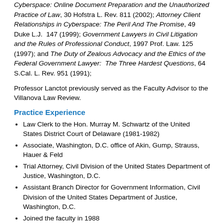Cyberspace: Online Document Preparation and the Unauthorized Practice of Law, 30 Hofstra L. Rev. 811 (2002); Attorney Client Relationships in Cyberspace: The Peril And The Promise, 49 Duke L.J. 147 (1999); Government Lawyers in Civil Litigation and the Rules of Professional Conduct, 1997 Prof. Law. 125 (1997); and The Duty of Zealous Advocacy and the Ethics of the Federal Government Lawyer: The Three Hardest Questions, 64 S.Cal. L. Rev. 951 (1991);
Professor Lanctot previously served as the Faculty Advisor to the Villanova Law Review.
Practice Experience
Law Clerk to the Hon. Murray M. Schwartz of the United States District Court of Delaware (1981-1982)
Associate, Washington, D.C. office of Akin, Gump, Strauss, Hauer & Feld
Trial Attorney, Civil Division of the United States Department of Justice, Washington, D.C.
Assistant Branch Director for Government Information, Civil Division of the United States Department of Justice, Washington, D.C.
Joined the faculty in 1988